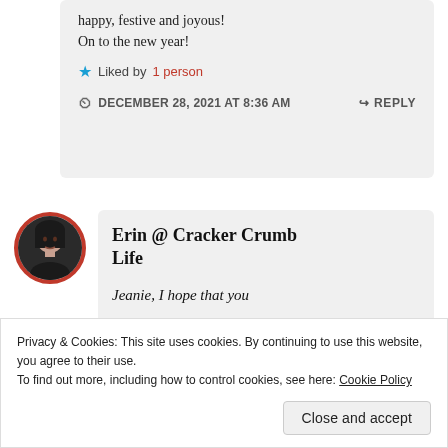happy, festive and joyous! On to the new year!
★ Liked by 1 person
DECEMBER 28, 2021 AT 8:36 AM
↳ REPLY
Erin @ Cracker Crumb Life
Privacy & Cookies: This site uses cookies. By continuing to use this website, you agree to their use.
To find out more, including how to control cookies, see here: Cookie Policy
Close and accept
Jeanie, I hope that you